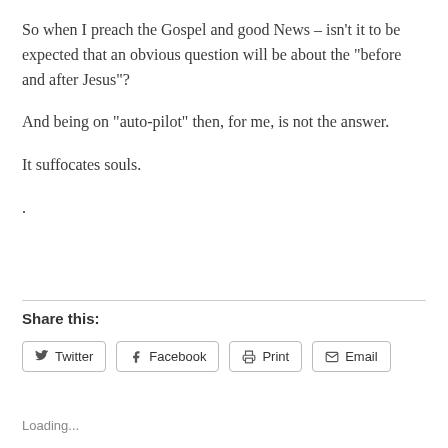So when I preach the Gospel and good News – isn't it to be expected that an obvious question will be about the “before and after Jesus”?
And being on “auto-pilot” then, for me, is not the answer.
It suffocates souls.
.
Share this:
Twitter  Facebook  Print  Email
Loading...